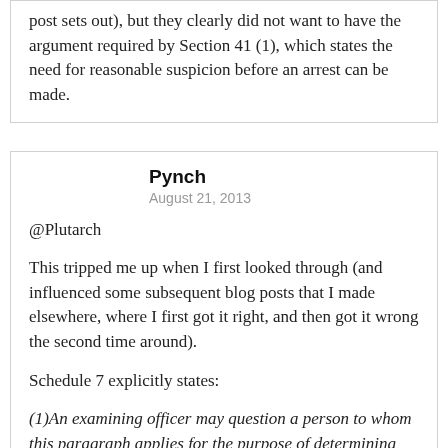post sets out), but they clearly did not want to have the argument required by Section 41 (1), which states the need for reasonable suspicion before an arrest can be made.
Pynch
August 21, 2013
@Plutarch
This tripped me up when I first looked through (and influenced some subsequent blog posts that I made elsewhere, where I first got it right, and then got it wrong the second time around).
Schedule 7 explicitly states:
(1)An examining officer may question a person to whom this paragraph applies for the purpose of determining whether